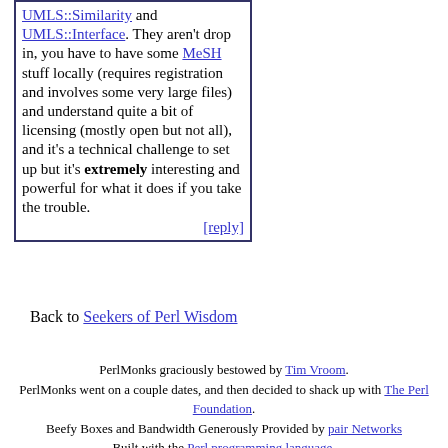UMLS::Similarity and UMLS::Interface. They aren't drop in, you have to have some MeSH stuff locally (requires registration and involves some very large files) and understand quite a bit of licensing (mostly open but not all), and it's a technical challenge to set up but it's extremely interesting and powerful for what it does if you take the trouble.
[reply]
Back to Seekers of Perl Wisdom
PerlMonks graciously bestowed by Tim Vroom. PerlMonks went on a couple dates, and then decided to shack up with The Perl Foundation. Beefy Boxes and Bandwidth Generously Provided by pair Networks Built with the Perl programming language.